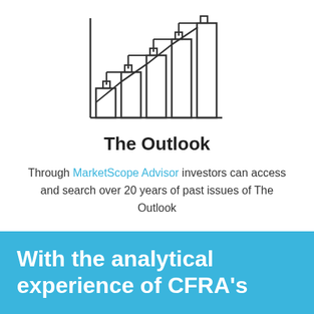[Figure (illustration): Line chart icon with step-up bars and a rising line with square data points, drawn in outline style]
The Outlook
Through MarketScope Advisor investors can access and search over 20 years of past issues of The Outlook
With the analytical experience of CFRA's